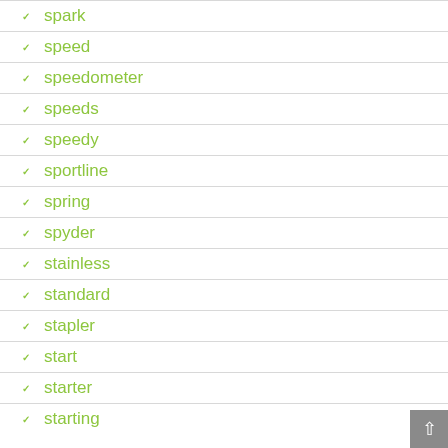spark
speed
speedometer
speeds
speedy
sportline
spring
spyder
stainless
standard
stapler
start
starter
starting